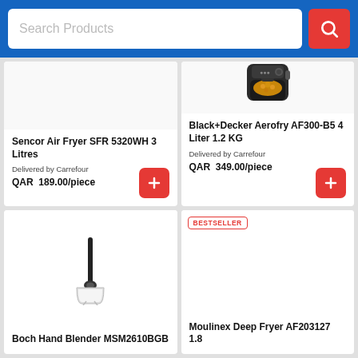Search Products
[Figure (screenshot): Product listing grid showing kitchen appliances on an e-commerce website]
Sencor Air Fryer SFR 5320WH 3 Litres
Delivered by Carrefour
QAR 189.00/piece
Black+Decker Aerofry AF300-B5 4 Liter 1.2 KG
Delivered by Carrefour
QAR 349.00/piece
Boch Hand Blender MSM2610BGB
Moulinex Deep Fryer AF203127 1.8